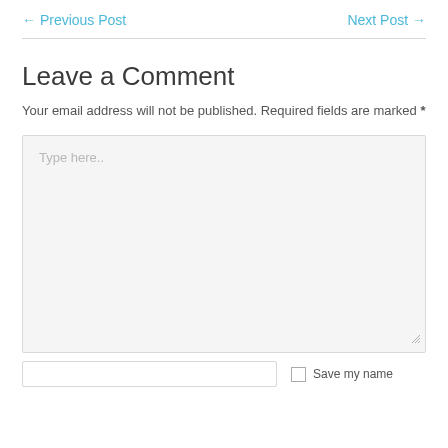← Previous Post    Next Post →
Leave a Comment
Your email address will not be published. Required fields are marked *
[Figure (other): Large text input textarea with placeholder text 'Type here..' and resize handle in bottom-right corner]
Save my name